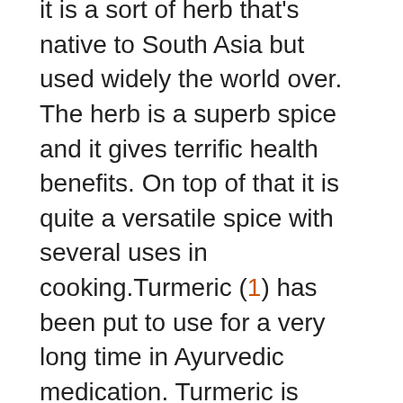it is a sort of herb that's native to South Asia but used widely the world over. The herb is a superb spice and it gives terrific health benefits. On top of that it is quite a versatile spice with several uses in cooking.Turmeric (1) has been put to use for a very long time in Ayurvedic medication. Turmeric is among the spices that are known to cure numerous health disorders.
It is a must-have spice in every household because of its unique flavor. Apart from slight stomach upset and a mild increase in temperature, the spice isn't known to have any harmful side-effects on the body. The wonderful supplement is widely thought of as a safe herb. Turmeric was and still is utilized to take care of many different conditions, but it wasn't traditionally encouraged for diabetics. Turmeric isn't a miracle cure, but it could certainly